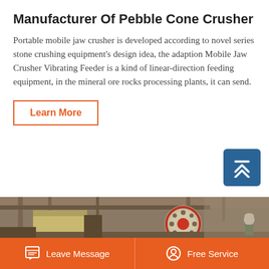Manufacturer Of Pebble Cone Crusher
Portable mobile jaw crusher is developed according to novel series stone crushing equipment's design idea, the adaption Mobile Jaw Crusher Vibrating Feeder is a kind of linear-direction feeding equipment, in the mineral ore rocks processing plants, it can send.
[Figure (photo): Industrial pebble cone crusher machinery with large red flywheel, metal frame structures, and a worker wearing a hard hat visible in the background]
Leave Message   Free Service